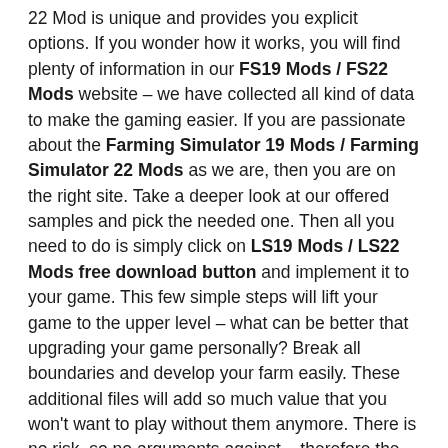22 Mod is unique and provides you explicit options. If you wonder how it works, you will find plenty of information in our FS19 Mods / FS22 Mods website – we have collected all kind of data to make the gaming easier. If you are passionate about the Farming Simulator 19 Mods / Farming Simulator 22 Mods as we are, then you are on the right site. Take a deeper look at our offered samples and pick the needed one. Then all you need to do is simply click on LS19 Mods / LS22 Mods free download button and implement it to your game. This few simple steps will lift your game to the upper level – what can be better that upgrading your game personally? Break all boundaries and develop your farm easily. These additional files will add so much value that you won't want to play without them anymore. There is no risk, so no arguments against – therefore the are no excuses of not taking this special chance. It's amazing how much a simple update can do – be the smart player and achieve much more than you were ever planning. It's great getting even more than it was expected – that's why we insist on you to try and test the benefits personally.